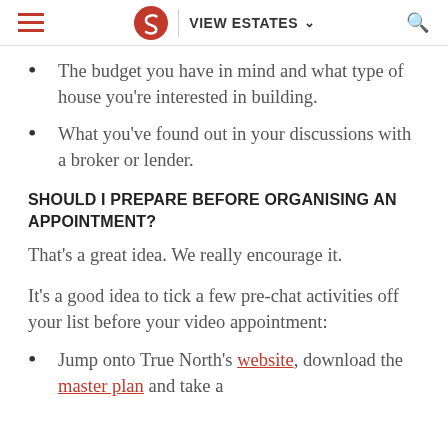☰  [Logo S]  | VIEW ESTATES ∨  🔍
The budget you have in mind and what type of house you're interested in building.
What you've found out in your discussions with a broker or lender.
SHOULD I PREPARE BEFORE ORGANISING AN APPOINTMENT?
That's a great idea. We really encourage it.
It's a good idea to tick a few pre-chat activities off your list before your video appointment:
Jump onto True North's website, download the master plan and take a